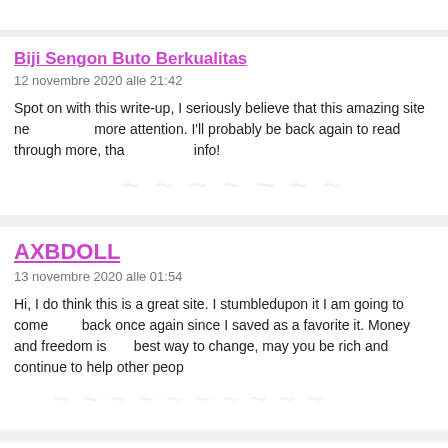Biji Sengon Buto Berkualitas
12 novembre 2020 alle 21:42
Spot on with this write-up, I seriously believe that this amazing site needs much more attention. I'll probably be back again to read through more, thanks for the info!
AXBDOLL
13 novembre 2020 alle 01:54
Hi, I do think this is a great site. I stumbledupon it I am going to come back once again since I saved as a favorite it. Money and freedom is the best way to change, may you be rich and continue to help other people.
nrp certification online
13 novembre 2020 alle 10:58
Hello there, I do believe your site may be having browser compatibility issues. Whenever I take a look at your site in Safari, it looks fine however when in IE, it's got some overlapping issues. I simply wanted to provide you